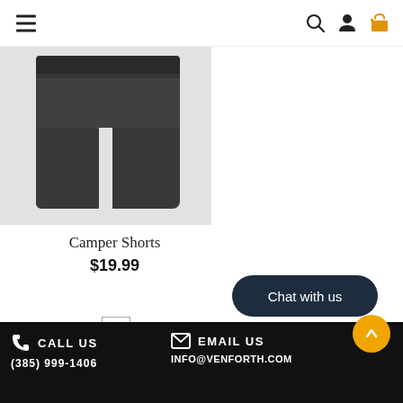Navigation header with hamburger menu, search, user, and cart icons
[Figure (photo): Dark gray Camper Shorts product photo on light background]
Camper Shorts
$19.99
1  2  3  4   Next»
CALL US  (385) 999-1406   EMAIL US  INFO@VENFORTH.COM   Chat with us